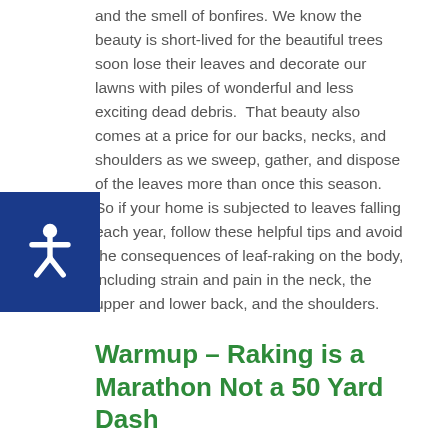and the smell of bonfires. We know the beauty is short-lived for the beautiful trees soon lose their leaves and decorate our lawns with piles of wonderful and less exciting dead debris.  That beauty also comes at a price for our backs, necks, and shoulders as we sweep, gather, and dispose of the leaves more than once this season.  So if your home is subjected to leaves falling each year, follow these helpful tips and avoid the consequences of leaf-raking on the body, including strain and pain in the neck, the upper and lower back, and the shoulders.
Warmup – Raking is a Marathon Not a 50 Yard Dash
Side Yard Stretches: Stretch before you begin working in the yard. Stop and take time to stretch periodically through your garden work. Begin with knee-to-chest stretches, trunk rotations, and side bends with hands above the head, palms up and fingers weaved.  Spend